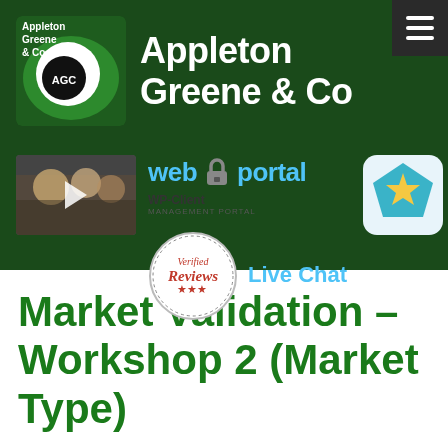[Figure (screenshot): Appleton Greene & Co website header banner showing logo, navigation, web portal link, WP-Client logo, verified reviews badge, star icon, and live chat link on dark green background]
Market Validation – Workshop 2 (Market Type)